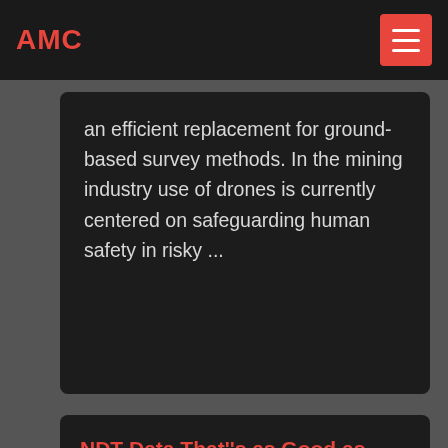AMC
an efficient replacement for ground-based survey methods. In the mining industry use of drones is currently centered on safeguarding human safety in risky ...
NDT Data That''s as Good as Gold for Mining Inspection ...
[Figure (photo): Four-panel photo grid showing mining equipment: excavators loading gravel (top-left), yellow mining excavator on dusty terrain (top-right), industrial silos and machinery (bottom-left), conveyor belts with dust and smoke (bottom-right)]